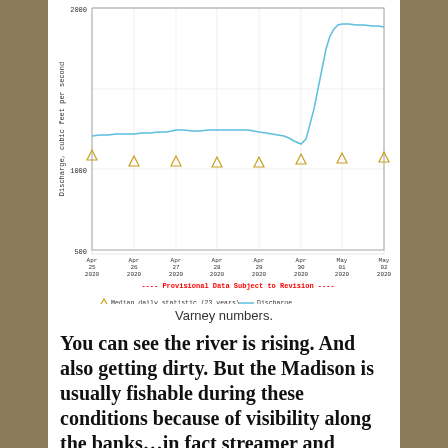[Figure (continuous-plot): Line chart showing river discharge (cubic feet per second) from Apr 25 2020 to May 02 2020. A blue line shows discharge rising from ~1200 cfs on Apr 25 to ~1900 cfs by May 01-02. Yellow triangle markers show median daily statistic (23 years) at roughly 1050-1100 cfs throughout. Y-axis ranges from 500 to 2000. Note: Provisional Data Subject to Revision.]
Varney numbers.
You can see the river is rising. And also getting dirty. But the Madison is usually fishable during these conditions because of visibility along the banks…in fact streamer and nymph fishing can be excellent because the fish don't get